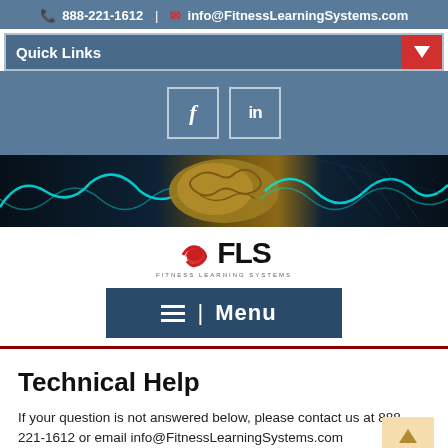888-221-1612 | info@FitnessLearningSystems.com
Quick Links
[Figure (screenshot): Facebook and LinkedIn social media icon buttons]
[Figure (photo): Brain image banner with neural wave graphics background]
[Figure (logo): FLS Fitness Learning Systems logo]
Menu
Technical Help
If your question is not answered below, please contact us at 888-221-1612 or email info@FitnessLearningSystems.com